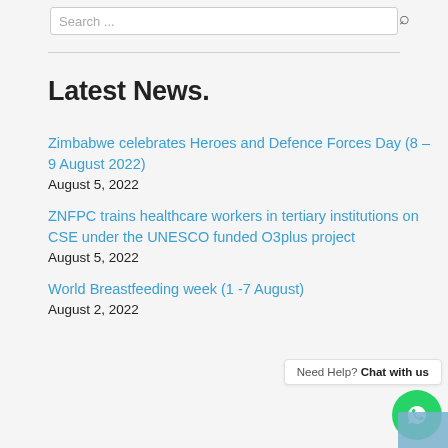Search ...
Latest News.
Zimbabwe celebrates Heroes and Defence Forces Day (8 – 9 August 2022)
August 5, 2022
ZNFPC trains healthcare workers in tertiary institutions on CSE under the UNESCO funded O3plus project
August 5, 2022
World Breastfeeding week (1 -7 August)
August 2, 2022